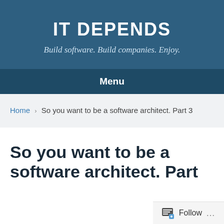IT DEPENDS
Build software. Build companies. Enjoy.
Menu
Home > So you want to be a software architect. Part 3
So you want to be a software architect. Part